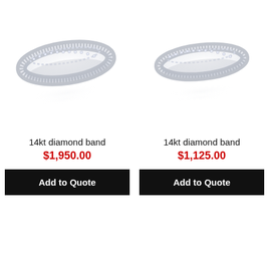[Figure (photo): Silver 14kt diamond band ring with diamond-set top, white gold, shown at angle with reflection below — left product]
14kt diamond band
$1,950.00
Add to Quote
[Figure (photo): Silver 14kt diamond band ring with diamond-set top, white gold, shown at angle with reflection below — right product]
14kt diamond band
$1,125.00
Add to Quote